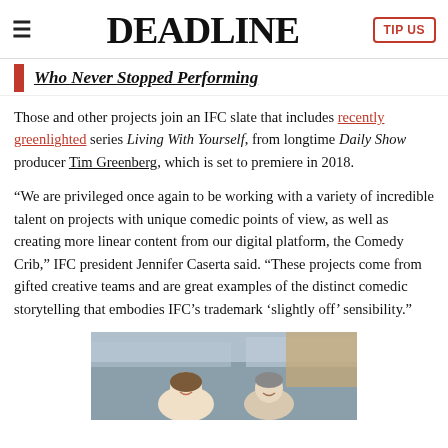≡  DEADLINE  TIP US
Who Never Stopped Performing
Those and other projects join an IFC slate that includes recently greenlighted series Living With Yourself, from longtime Daily Show producer Tim Greenberg, which is set to premiere in 2018.
“We are privileged once again to be working with a variety of incredible talent on projects with unique comedic points of view, as well as creating more linear content from our digital platform, the Comedy Crib,” IFC president Jennifer Caserta said. “These projects come from gifted creative teams and are great examples of the distinct comedic storytelling that embodies IFC’s trademark ‘slightly off’ sensibility.”
[Figure (photo): Photo of two people (a woman and a man) smiling, appearing to be at an outdoor event or stadium setting.]